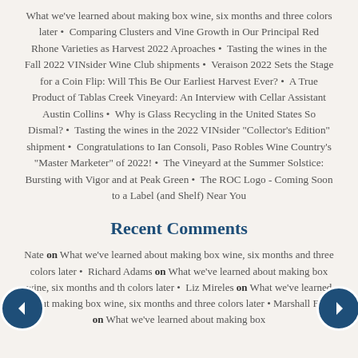What we've learned about making box wine, six months and three colors later • Comparing Clusters and Vine Growth in Our Principal Red Rhone Varieties as Harvest 2022 Aproaches • Tasting the wines in the Fall 2022 VINsider Wine Club shipments • Veraison 2022 Sets the Stage for a Coin Flip: Will This Be Our Earliest Harvest Ever? • A True Product of Tablas Creek Vineyard: An Interview with Cellar Assistant Austin Collins • Why is Glass Recycling in the United States So Dismal? • Tasting the wines in the 2022 VINsider "Collector's Edition" shipment • Congratulations to Ian Consoli, Paso Robles Wine Country's "Master Marketer" of 2022! • The Vineyard at the Summer Solstice: Bursting with Vigor and at Peak Green • The ROC Logo - Coming Soon to a Label (and Shelf) Near You
Recent Comments
Nate on What we've learned about making box wine, six months and three colors later • Richard Adams on What we've learned about making box wine, six months and th colors later • Liz Mireles on What we've learned about making box wine, six months and three colors later • Marshall Fuss on What we've learned about making box